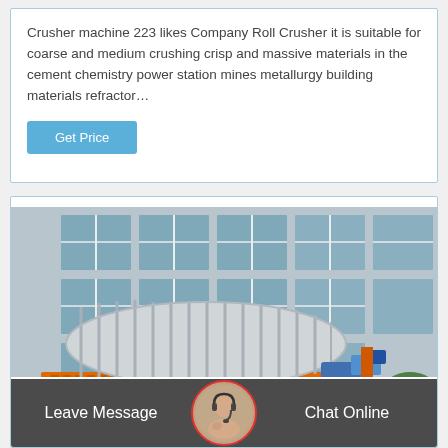Crusher machine 223 likes Company Roll Crusher it is suitable for coarse and medium crushing crisp and massive materials in the cement chemistry power station mines metallurgy building materials refractor…
Get Price
[Figure (photo): Orange industrial magnetic separator machine with large cylindrical drum and orange frame, parked outside a building with large glass windows. A blue rocket/alien icon overlay is visible on the right side.]
Leave Message
Chat Online